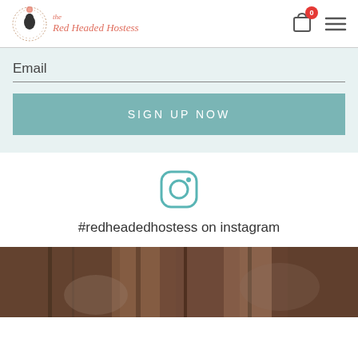[Figure (logo): Red Headed Hostess logo with circular wreath and script text]
Email
SIGN UP NOW
[Figure (illustration): Instagram icon (rounded square with circle and dot)]
#redheadedhostess on instagram
[Figure (photo): Photo of a decorative arrangement, dark warm tones, partially visible at bottom of page]